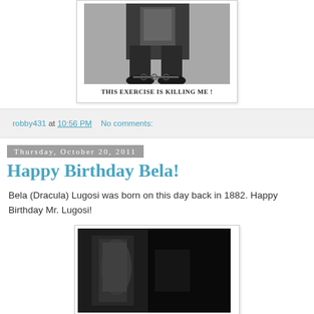[Figure (photo): Black and white vintage photo showing legs/lower body of a person exercising with chains/weights around ankles]
THIS EXERCISE IS KILLING ME !
robby431 at 10:56 PM   No comments:
Thursday, October 20, 2011
Happy Birthday Bela!
Bela (Dracula) Lugosi was born on this day back in 1882. Happy Birthday Mr. Lugosi!
[Figure (photo): Dark black and white photo, appears to show a shadowy figure, likely Bela Lugosi as Dracula]